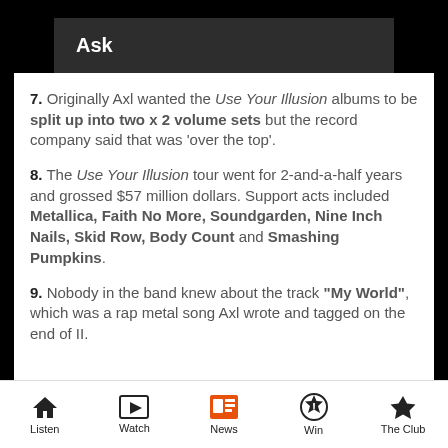Ask
7. Originally Axl wanted the Use Your Illusion albums to be split up into two x 2 volume sets but the record company said that was 'over the top'.
8. The Use Your Illusion tour went for 2-and-a-half years and grossed $57 million dollars. Support acts included Metallica, Faith No More, Soundgarden, Nine Inch Nails, Skid Row, Body Count and Smashing Pumpkins.
9. Nobody in the band knew about the track "My World", which was a rap metal song Axl wrote and tagged on the end of II.
Listen  Watch  News  Win  The Club